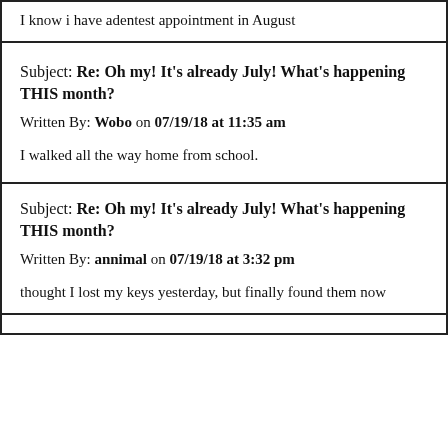I know i have adentest appointment in August
Subject: Re: Oh my! It's already July! What's happening THIS month?
Written By: Wobo on 07/19/18 at 11:35 am
I walked all the way home from school.
Subject: Re: Oh my! It's already July! What's happening THIS month?
Written By: annimal on 07/19/18 at 3:32 pm
thought I lost my keys yesterday, but finally found them now